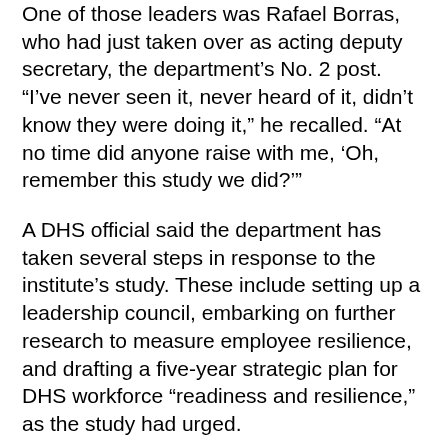One of those leaders was Rafael Borras, who had just taken over as acting deputy secretary, the department's No. 2 post. “I’ve never seen it, never heard of it, didn’t know they were doing it,” he recalled. “At no time did anyone raise with me, ‘Oh, remember this study we did?’”
A DHS official said the department has taken several steps in response to the institute’s study. These include setting up a leadership council, embarking on further research to measure employee resilience, and drafting a five-year strategic plan for DHS workforce “readiness and resilience,” as the study had urged.
When a congressional committee asked a year ago about what had come of the institute’s study, DHS officials also cited the five-year plan, saying it would be presented to senior managers by May 2014.
Nearly a year later, that strategic plan remains merely a draft in DHS’s computer system. A copy of a draft